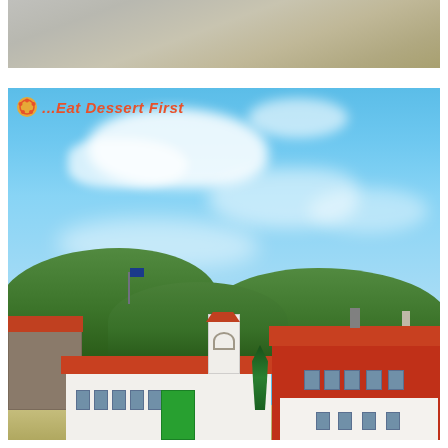[Figure (photo): Top partial photo showing sandy/gravelly ground texture with muted gray and tan tones]
[Figure (photo): Photo of a monastery or Orthodox church complex with red-tiled roofs, white and red buildings, a bell tower, green door entrance, surrounded by forested hills under a bright blue sky with wispy white clouds. An '...Eat Dessert First' blog logo watermark appears in the upper left corner of the photo.]